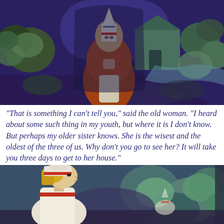[Figure (illustration): Folk art style illustration of an old woman in traditional Russian attire with white headdress and orange/red robe, standing in a forest scene with stylized trees and a wooden house in the background, rendered in deep blue, purple, teal and orange colors.]
"That is something I can't tell you," said the old woman. "I heard about some such thing in my youth, but where it is I don't know. But perhaps my older sister knows. She is the wisest and the oldest of the three of us. Why don't you go to see her? It will take you three days to get to her house."
[Figure (illustration): Folk art style illustration of a young woman with blonde hair in profile view, wearing a white garment with red trim and a white and red headdress, set against a background of stylized teal and purple foliage and trees.]